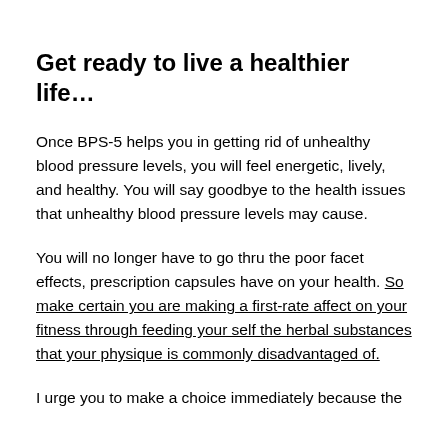Get ready to live a healthier life…
Once BPS-5 helps you in getting rid of unhealthy blood pressure levels, you will feel energetic, lively, and healthy. You will say goodbye to the health issues that unhealthy blood pressure levels may cause.
You will no longer have to go thru the poor facet effects, prescription capsules have on your health. So make certain you are making a first-rate affect on your fitness through feeding your self the herbal substances that your physique is commonly disadvantaged of.
I urge you to make a choice immediately because the